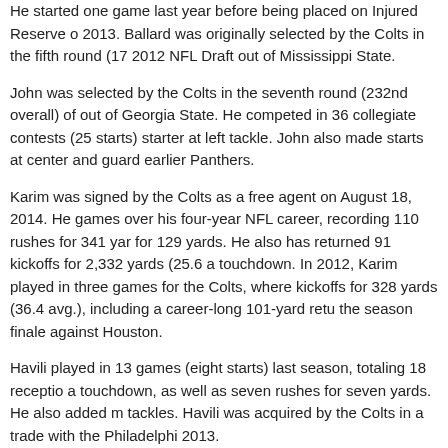He started one game last year before being placed on Injured Reserve on 2013. Ballard was originally selected by the Colts in the fifth round (17 2012 NFL Draft out of Mississippi State.
John was selected by the Colts in the seventh round (232nd overall) of out of Georgia State. He competed in 36 collegiate contests (25 starts) starter at left tackle. John also made starts at center and guard earlier Panthers.
Karim was signed by the Colts as a free agent on August 18, 2014. He games over his four-year NFL career, recording 110 rushes for 341 yar for 129 yards. He also has returned 91 kickoffs for 2,332 yards (25.6 a touchdown. In 2012, Karim played in three games for the Colts, where kickoffs for 328 yards (36.4 avg.), including a career-long 101-yard retu the season finale against Houston.
Havili played in 13 games (eight starts) last season, totaling 18 receptio a touchdown, as well as seven rushes for seven yards. He also added m tackles. Havili was acquired by the Colts in a trade with the Philadelphi 2013.
Posted in Colts Blog
INDIANAPOLIS COLTS MAKE ROSTER MOVES